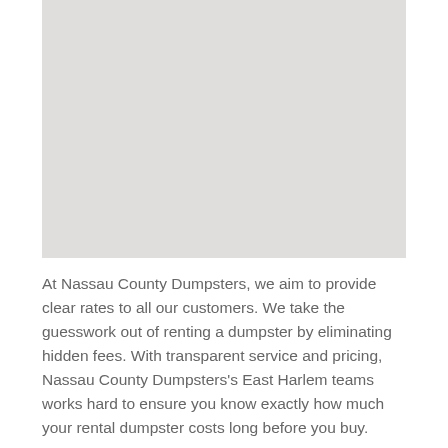[Figure (other): Light gray placeholder image area]
At Nassau County Dumpsters, we aim to provide clear rates to all our customers. We take the guesswork out of renting a dumpster by eliminating hidden fees. With transparent service and pricing, Nassau County Dumpsters's East Harlem teams works hard to ensure you know exactly how much your rental dumpster costs long before you buy.